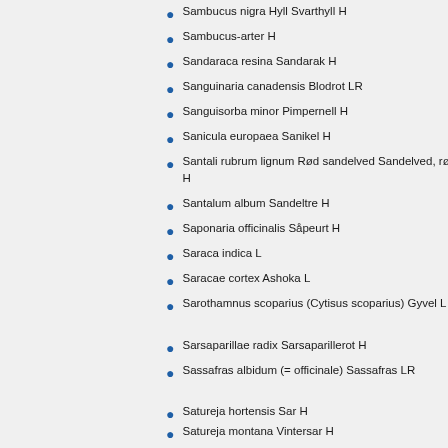Sambucus nigra Hyll Svarthyll H
Sambucus-arter H
Sandaraca resina Sandarak H
Sanguinaria canadensis Blodrot LR
Sanguisorba minor Pimpernell H
Sanicula europaea Sanikel H
Santali rubrum lignum Rød sandelved Sandelved, rød H
Santalum album Sandeltre H
Saponaria officinalis Såpeurt H
Saraca indica L
Saracae cortex Ashoka L
Sarothamnus scoparius (Cytisus scoparius) Gyvel L
Sarsaparillae radix Sarsaparillerot H
Sassafras albidum (= officinale) Sassafras LR
Satureja hortensis Sar H
Satureja montana Vintersar H
Saussurea lappa L